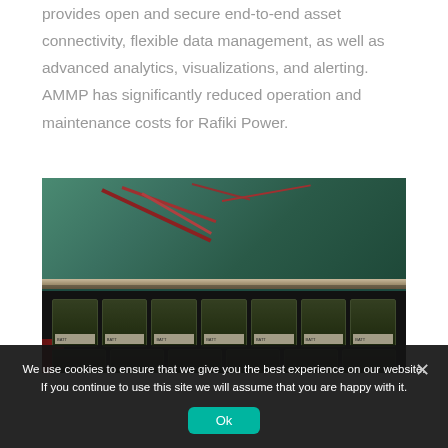provides open and secure end-to-end asset connectivity, flexible data management, as well as advanced analytics, visualizations, and alerting. AMMP has significantly reduced operation and maintenance costs for Rafiki Power.
[Figure (photo): Photo of battery bank and electrical wiring inside a green-painted metal shed or enclosure. Multiple batteries with labels are visible in rows, connected with red cables and wiring overhead.]
We use cookies to ensure that we give you the best experience on our website. If you continue to use this site we will assume that you are happy with it.